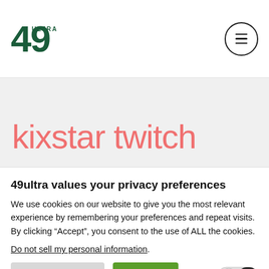49 ULTRA — navigation header with menu button
kixstar twitch
What Happened to KiYSTAr
49ultra values your privacy preferences
We use cookies on our website to give you the most relevant experience by remembering your preferences and repeat visits. By clicking “Accept”, you consent to the use of ALL the cookies.
Do not sell my personal information.
Cookie Settings
Accept